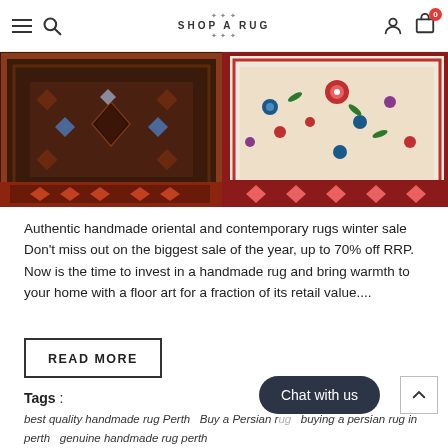SHOP A RUG
[Figure (photo): Two Oriental/Persian handmade rugs side by side — left rug has dark geometric patterns on a dark red/brown background; right rug has floral patterns on a cream/ivory background with red border]
Authentic handmade oriental and contemporary rugs winter sale Don't miss out on the biggest sale of the year, up to 70% off RRP. Now is the time to invest in a handmade rug and bring warmth to your home with a floor art for a fraction of its retail value....
READ MORE
Tags :
best quality handmade rug Perth   Buy a Persian rug   buying a persian rug in perth   genuine handmade rug perth   handmade rug Australia   handmade rug sydney   handmade rugs australia